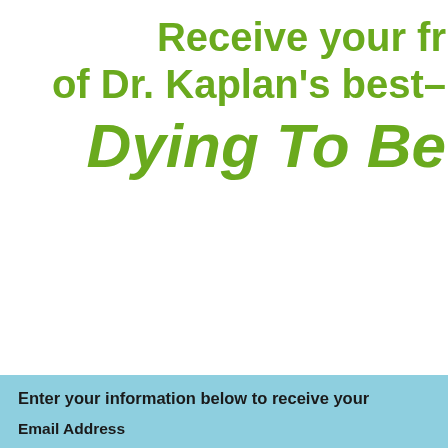Receive your fr of Dr. Kaplan's best– Dying To Be
Enter your information below to receive your
Email Address
Order Number